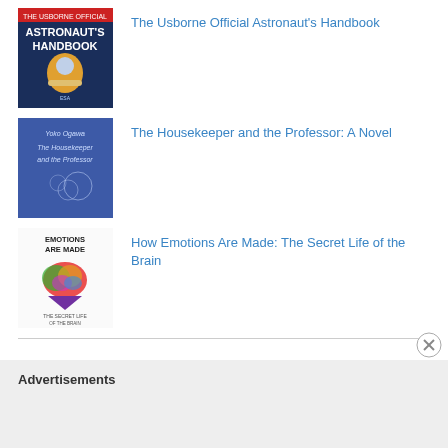The Usborne Official Astronaut's Handbook
The Housekeeper and the Professor: A Novel
How Emotions Are Made: The Secret Life of the Brain
Advertisements